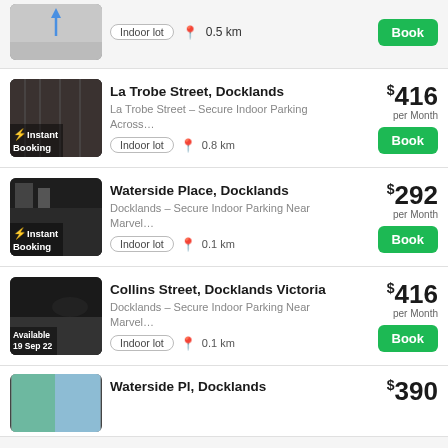[Figure (screenshot): Partial parking listing card at top: thumbnail of indoor parking, Indoor lot tag, 0.5 km, Book button]
[Figure (screenshot): Parking listing: La Trobe Street, Docklands. Instant Booking badge. Indoor lot, 0.8 km. $416 per Month. Book button.]
[Figure (screenshot): Parking listing: Waterside Place, Docklands. Instant Booking badge. Indoor lot, 0.1 km. $292 per Month. Book button.]
[Figure (screenshot): Parking listing: Collins Street, Docklands Victoria. Available 19 Sep 22. Indoor lot, 0.1 km. $416 per Month. Book button.]
[Figure (screenshot): Partial parking listing: Waterside Pl, Docklands. $390]